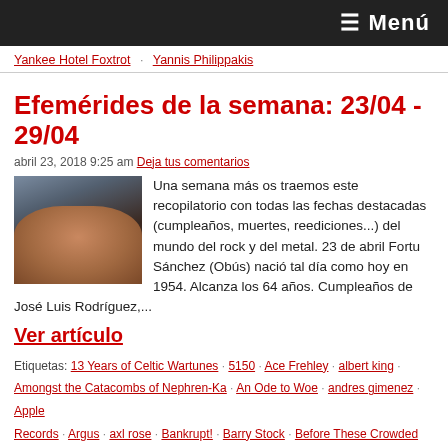≡ Menú
Yankee Hotel Foxtrot · Yannis Philippakis
Efemérides de la semana: 23/04 - 29/04
abril 23, 2018 9:25 am Deja tus comentarios
Una semana más os traemos este recopilatorio con todas las fechas destacadas (cumpleaños, muertes, reediciones...) del mundo del rock y del metal. 23 de abril Fortu Sánchez (Obús) nació tal día como hoy en 1954. Alcanza los 64 años. Cumpleaños de José Luis Rodríguez,...
Ver artículo
Etiquetas: 13 Years of Celtic Wartunes · 5150 · Ace Frehley · albert king · Amongst the Catacombs of Nephren-Ka · An Ode to Woe · andres gimenez · Apple Records · Argus · axl rose · Bankrupt! · Barry Stock · Before These Crowded Streets · Better Than Raw · billy gould · black sabbath · Boris Williams · brian marshall · Captain Sensible · cheap trick · Delusions of Grandeur · Digital Versatile Doom · Discouraged Ones · Elated · End Hits · eoin curry · Eric